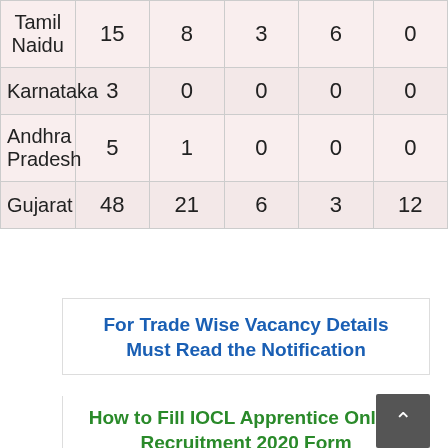| Tamil Naidu | 15 | 8 | 3 | 6 | 0 |
| Karnataka | 3 | 0 | 0 | 0 | 0 |
| Andhra Pradesh | 5 | 1 | 0 | 0 | 0 |
| Gujarat | 48 | 21 | 6 | 3 | 12 |
For Trade Wise Vacancy Details Must Read the Notification
How to Fill IOCL Apprentice Online Recruitment 2020 Form
Indian Oil Corporation Limited (IOCL)